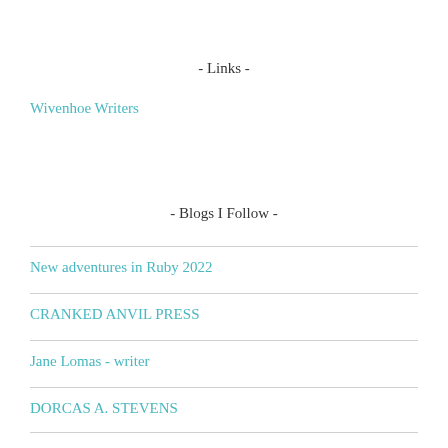- Links -
Wivenhoe Writers
- Blogs I Follow -
New adventures in Ruby 2022
CRANKED ANVIL PRESS
Jane Lomas - writer
DORCAS A. STEVENS
100 Words Of Solitude